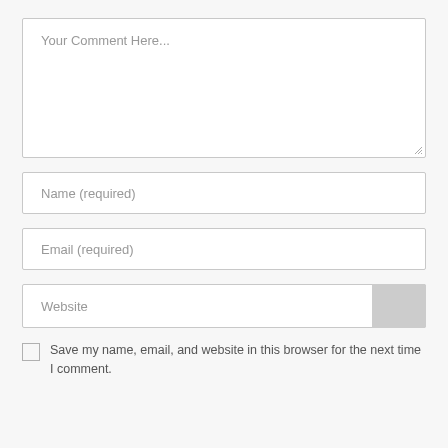[Figure (screenshot): Comment form textarea with placeholder text 'Your Comment Here...']
[Figure (screenshot): Name input field with placeholder text 'Name (required)']
[Figure (screenshot): Email input field with placeholder text 'Email (required)']
[Figure (screenshot): Website input field with placeholder text 'Website' and a grey overlay on the right side]
Save my name, email, and website in this browser for the next time I comment.